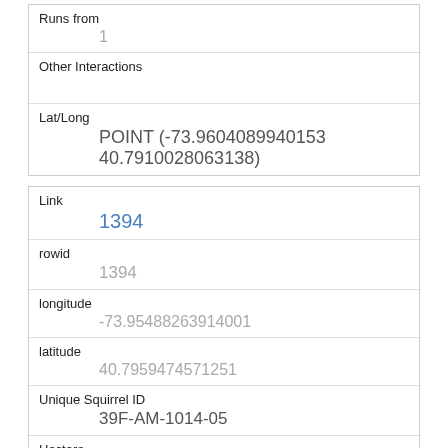| Runs from | 1 |
| Other Interactions |  |
| Lat/Long | POINT (-73.9604089940153 40.7910028063138) |
| Link | 1394 |
| rowid | 1394 |
| longitude | -73.95488263914001 |
| latitude | 40.7959474571251 |
| Unique Squirrel ID | 39F-AM-1014-05 |
| Hectare | 39F |
| Shift | AM |